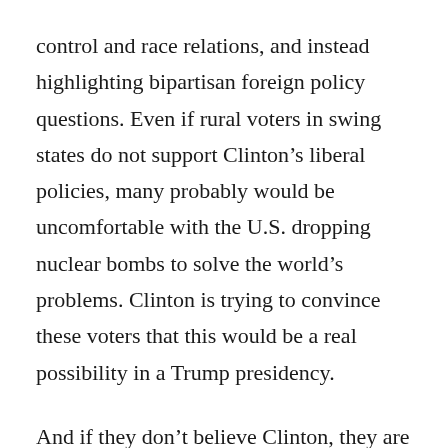control and race relations, and instead highlighting bipartisan foreign policy questions. Even if rural voters in swing states do not support Clinton's liberal policies, many probably would be uncomfortable with the U.S. dropping nuclear bombs to solve the world's problems. Clinton is trying to convince these voters that this would be a real possibility in a Trump presidency.
And if they don't believe Clinton, they are likely to believe the Republicans they have lived with, respected and voted for in the past.